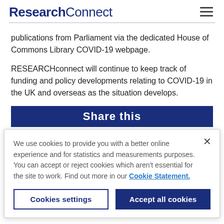ResearchConnect
publications from Parliament via the dedicated House of Commons Library COVID-19 webpage.
RESEARCHconnect will continue to keep track of funding and policy developments relating to COVID-19 in the UK and overseas as the situation develops.
[Figure (other): Share this button bar in dark navy blue]
We use cookies to provide you with a better online experience and for statistics and measurements purposes. You can accept or reject cookies which aren't essential for the site to work. Find out more in our Cookie Statement.